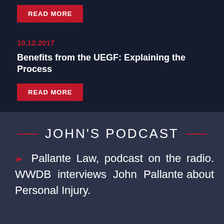[Figure (other): Red READ MORE button at top of dark background section]
10.12.2017
Benefits from the UEGF: Explaining the Process
[Figure (other): Red READ MORE button below article title]
JOHN'S PODCAST
Pallante Law, podcast on the radio. WWDB interviews John Pallante about Personal Injury.